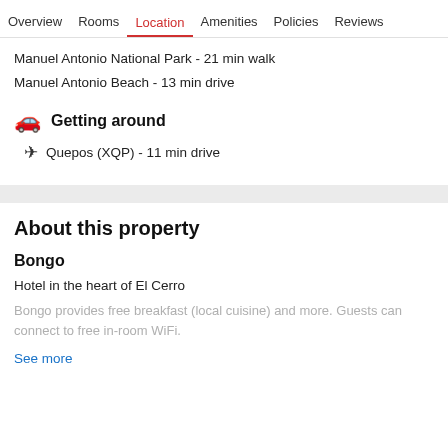Overview  Rooms  Location  Amenities  Policies  Reviews
Manuel Antonio National Park - 21 min walk
Manuel Antonio Beach - 13 min drive
Getting around
Quepos (XQP) - 11 min drive
About this property
Bongo
Hotel in the heart of El Cerro
Bongo provides free breakfast (local cuisine) and more. Guests can connect to free in-room WiFi.
See more